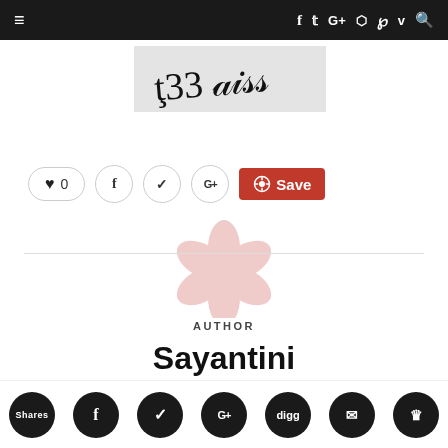Navigation bar with hamburger menu and social icons: Facebook, Twitter, Google+, Instagram, Pinterest, Vimeo, Search
[Figure (photo): Handwritten text on light gray background, appears to read cursive script]
[Figure (infographic): Social share buttons row: heart/like button with 0 count, Facebook circle, Twitter circle, Google+ circle, Pinterest Save button in red]
[Figure (logo): Watermark logo in light pink/red tones, appears to be a decorative flower or pinwheel shape]
AUTHOR
Sayantini
[Figure (infographic): Bottom social sharing bar with circular black icons: Shares, Facebook, Twitter, Google+, Digg, Email, Crown/bookmark]